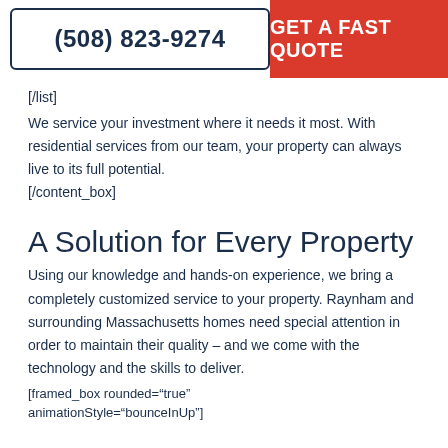(508) 823-9274 | GET A FAST QUOTE
[/list]
We service your investment where it needs it most. With residential services from our team, your property can always live to its full potential.
[/content_box]
A Solution for Every Property
Using our knowledge and hands-on experience, we bring a completely customized service to your property. Raynham and surrounding Massachusetts homes need special attention in order to maintain their quality – and we come with the technology and the skills to deliver.
[framed_box rounded="true" animationStyle="bounceInUp"]